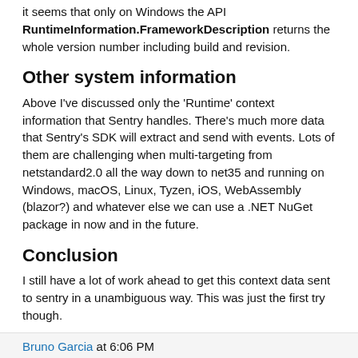it seems that only on Windows the API RuntimeInformation.FrameworkDescription returns the whole version number including build and revision.
Other system information
Above I've discussed only the 'Runtime' context information that Sentry handles. There's much more data that Sentry's SDK will extract and send with events. Lots of them are challenging when multi-targeting from netstandard2.0 all the way down to net35 and running on Windows, macOS, Linux, Tyzen, iOS, WebAssembly (blazor?) and whatever else we can use a .NET NuGet package in now and in the future.
Conclusion
I still have a lot of work ahead to get this context data sent to sentry in a unambiguous way. This was just the first try though.
Bruno Garcia at 6:06 PM